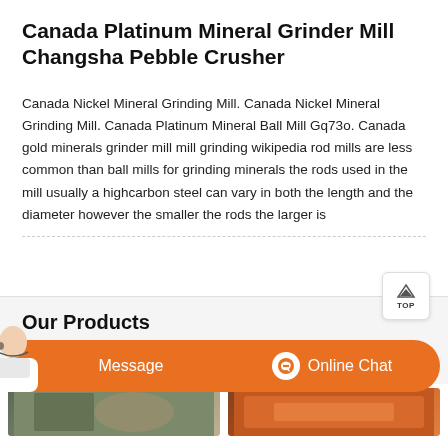Canada Platinum Mineral Grinder Mill Changsha Pebble Crusher
Canada Nickel Mineral Grinding Mill. Canada Nickel Mineral Grinding Mill. Canada Platinum Mineral Ball Mill Gq73o. Canada gold minerals grinder mill mill grinding wikipedia rod mills are less common than ball mills for grinding minerals the rods used in the mill usually a highcarbon steel can vary in both the length and the diameter however the smaller the rods the larger is
Our Products
[Figure (photo): Industrial grinding mill machinery photo on left]
[Figure (photo): Industrial blue crushing equipment photo on right]
[Figure (photo): Customer service agent with headset on bottom left]
[Figure (photo): Industrial machinery bottom right strip]